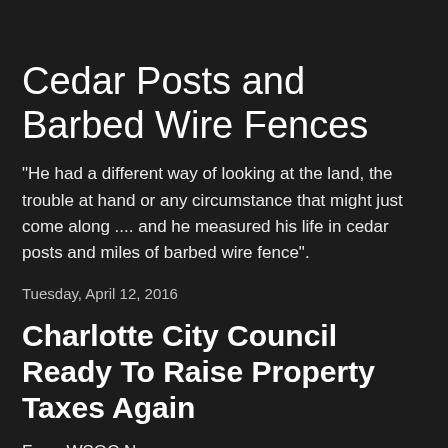Cedar Posts and Barbed Wire Fences
"He had a different way of looking at the land, the trouble at hand or any circumstance that might just come along .... and he measured his life in cedar posts and miles of barbed wire fence".
Tuesday, April 12, 2016
Charlotte City Council Ready To Raise Property Taxes Again
From WSOC News: